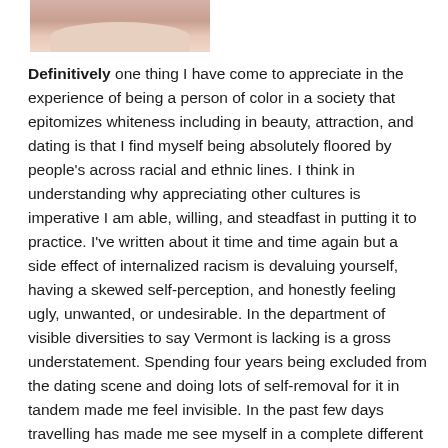[Figure (photo): Partial photo of a person, cropped showing torso/arms area, top of page]
Definitively one thing I have come to appreciate in the experience of being a person of color in a society that epitomizes whiteness including in beauty, attraction, and dating is that I find myself being absolutely floored by people's across racial and ethnic lines. I think in understanding why appreciating other cultures is imperative I am able, willing, and steadfast in putting it to practice. I've written about it time and time again but a side effect of internalized racism is devaluing yourself, having a skewed self-perception, and honestly feeling ugly, unwanted, or undesirable. In the department of visible diversities to say Vermont is lacking is a gross understatement. Spending four years being excluded from the dating scene and doing lots of self-removal for it in tandem made me feel invisible. In the past few days travelling has made me see myself in a complete different light. Swipe right for me.